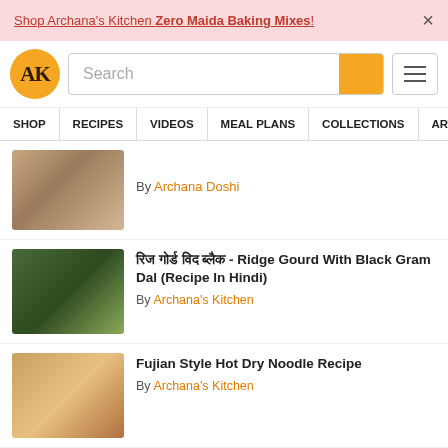Shop Archana's Kitchen Zero Maida Baking Mixes!
[Figure (logo): AK logo - circular orange logo with AK text]
SHOP | RECIPES | VIDEOS | MEAL PLANS | COLLECTIONS | ART
By Archana Doshi
रिज गोर्ड विद ब्लैक - Ridge Gourd With Black Gram Dal (Recipe In Hindi)
By Archana's Kitchen
Fujian Style Hot Dry Noodle Recipe
By Archana's Kitchen
You May Also Like